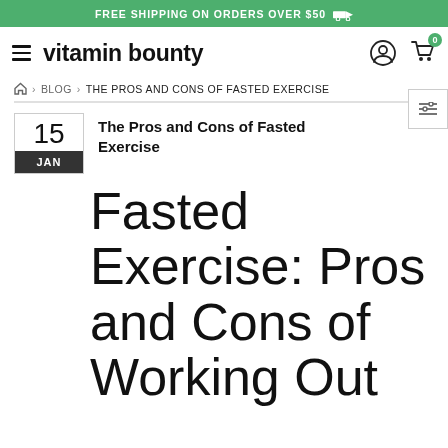FREE SHIPPING ON ORDERS OVER $50
[Figure (logo): Vitamin Bounty logo with hamburger menu icon]
BLOG > THE PROS AND CONS OF FASTED EXERCISE
The Pros and Cons of Fasted Exercise
Fasted Exercise: Pros and Cons of Working Out